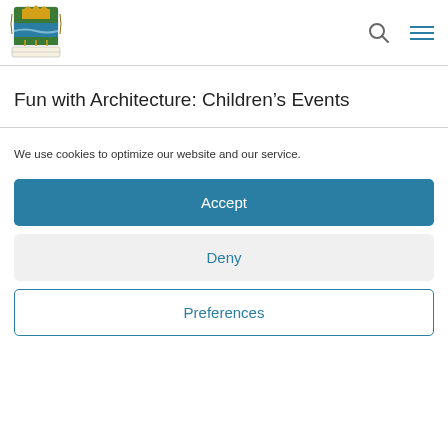[Figure (logo): County council crest/logo — shield with green, gold, and blue sections, crown, wheat sheaves, and wavy line, with decorative border]
Fun with Architecture: Children's Events
We use cookies to optimize our website and our service.
Accept
Deny
Preferences